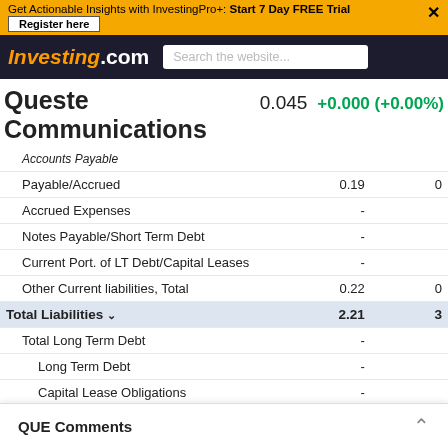Get Actionable Insights with InvestingPro+: Start 7 Day FREE Trial  Register here
Investing.com  Search the website...
Queste Communications  0.045  +0.000 (+0.00%)
|  | Col1 | Col2 |
| --- | --- | --- |
| Accounts Payable |  |  |
| Payable/Accrued | 0.19 | 0 |
| Accrued Expenses | - |  |
| Notes Payable/Short Term Debt | - |  |
| Current Port. of LT Debt/Capital Leases | - |  |
| Other Current liabilities, Total | 0.22 | 0 |
| Total Liabilities | 2.21 | 3 |
| Total Long Term Debt | - |  |
| Long Term Debt | - |  |
| Capital Lease Obligations | - |  |
| Deferred Income Tax | - |  |
| Minority Interest | 1.3 | 2 |
| Other Liabilities, Total | 0.5 | 0 |
| Total Equity | 1.6 | 4 |
| Redeemable... |  |  |
| Preferred St... |  |  |
QUE Comments